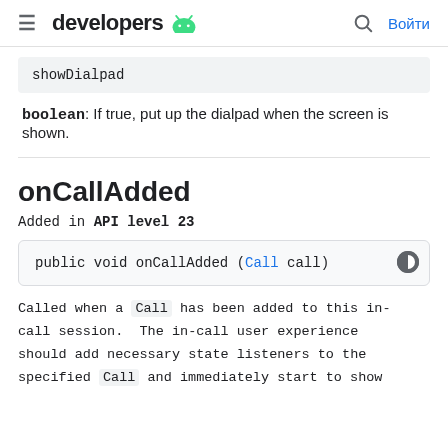≡ developers 🤖   🔍 Войти
showDialpad
boolean: If true, put up the dialpad when the screen is shown.
onCallAdded
Added in API level 23
public void onCallAdded (Call call)
Called when a Call has been added to this in-call session. The in-call user experience should add necessary state listeners to the specified Call and immediately start to show